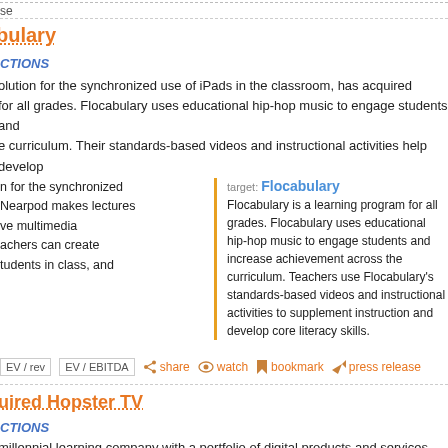se
bulary
CTIONS
olution for the synchronized use of iPads in the classroom, has acquired for all grades. Flocabulary uses educational hip-hop music to engage students and e curriculum. Their standards-based videos and instructional activities help develop
n for the synchronized
Nearpod makes lectures
ve multimedia
achers can create
tudents in class, and
target: Flocabulary
Flocabulary is a learning program for all grades. Flocabulary uses educational hip-hop music to engage students and increase achievement across the curriculum. Teachers use Flocabulary's standards-based videos and instructional activities to supplement instruction and develop core literacy skills.
EV / rev  EV / EBITDA  share  watch  bookmark  press release
uired Hopster TV
CTIONS
millennial learning company with a portfolio of digital products and services which ay, has acquired Hopster, a company whose content helps develop kids' literacy,